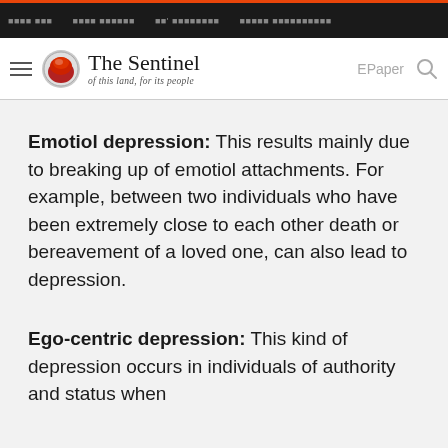The Sentinel — of this land, for its people
Emotiol depression: This results mainly due to breaking up of emotiol attachments. For example, between two individuals who have been extremely close to each other death or bereavement of a loved one, can also lead to depression.
Ego-centric depression: This kind of depression occurs in individuals of authority and status when